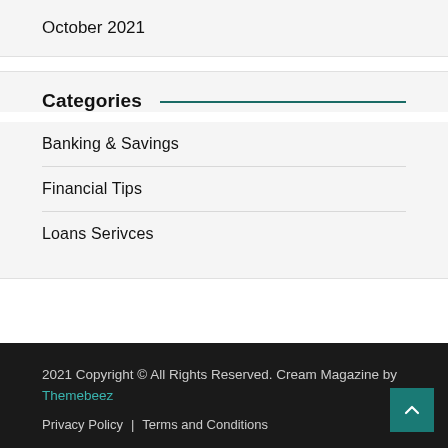October 2021
Categories
Banking & Savings
Financial Tips
Loans Serivces
2021 Copyright © All Rights Reserved. Cream Magazine by Themebeez
Privacy Policy | Terms and Conditions